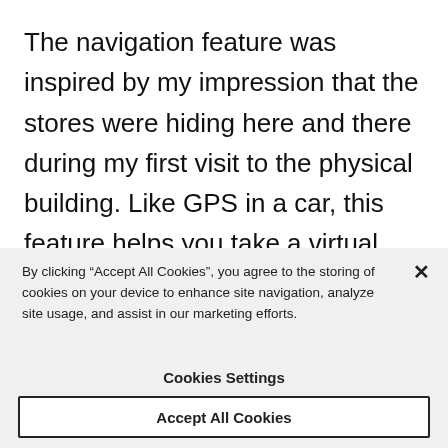The navigation feature was inspired by my impression that the stores were hiding here and there during my first visit to the physical building. Like GPS in a car, this feature helps you take a virtual tour of the stores inside. It was developed to make it easy to find stores when
By clicking “Accept All Cookies”, you agree to the storing of cookies on your device to enhance site navigation, analyze site usage, and assist in our marketing efforts.
Cookies Settings
Accept All Cookies